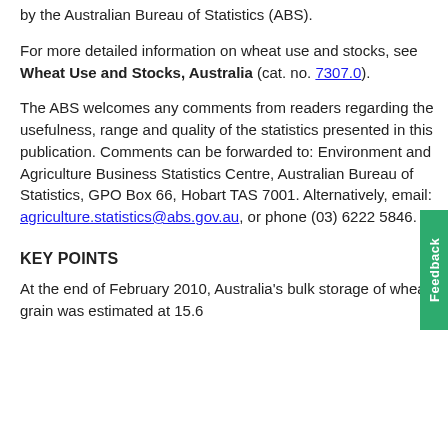by the Australian Bureau of Statistics (ABS).
For more detailed information on wheat use and stocks, see Wheat Use and Stocks, Australia (cat. no. 7307.0).
The ABS welcomes any comments from readers regarding the usefulness, range and quality of the statistics presented in this publication. Comments can be forwarded to: Environment and Agriculture Business Statistics Centre, Australian Bureau of Statistics, GPO Box 66, Hobart TAS 7001. Alternatively, email: agriculture.statistics@abs.gov.au, or phone (03) 6222 5846.
KEY POINTS
At the end of February 2010, Australia's bulk storage of wheat grain was estimated at 15.6